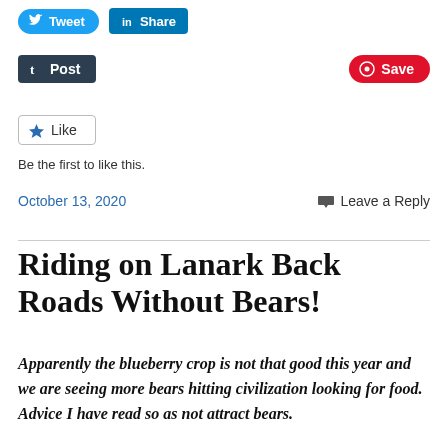[Figure (screenshot): Social sharing buttons: Tweet (Twitter, blue rounded) and Share (LinkedIn, blue square)]
[Figure (screenshot): Post button (dark, Tumblr style) on left and Save button (red, Pinterest style) on right]
[Figure (screenshot): Star Like button with border]
Be the first to like this.
October 13, 2020
Leave a Reply
Riding on Lanark Back Roads Without Bears!
Apparently the blueberry crop is not that good this year and we are seeing more bears hitting civilization looking for food. Advice I have read so as not attract bears.